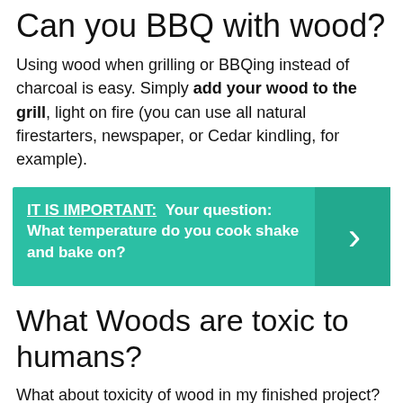Can you BBQ with wood?
Using wood when grilling or BBQing instead of charcoal is easy. Simply add your wood to the grill, light on fire (you can use all natural firestarters, newspaper, or Cedar kindling, for example).
IT IS IMPORTANT:  Your question: What temperature do you cook shake and bake on?
What Woods are toxic to humans?
What about toxicity of wood in my finished project?